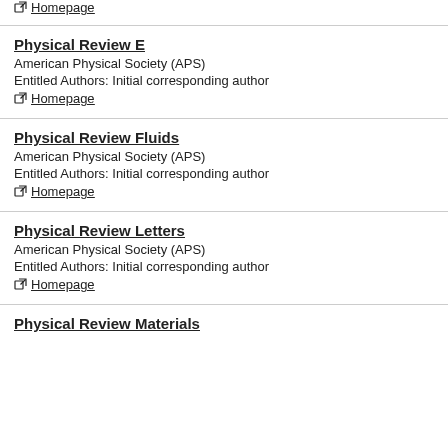Homepage
Physical Review E
American Physical Society (APS)
Entitled Authors: Initial corresponding author
Homepage
Physical Review Fluids
American Physical Society (APS)
Entitled Authors: Initial corresponding author
Homepage
Physical Review Letters
American Physical Society (APS)
Entitled Authors: Initial corresponding author
Homepage
Physical Review Materials